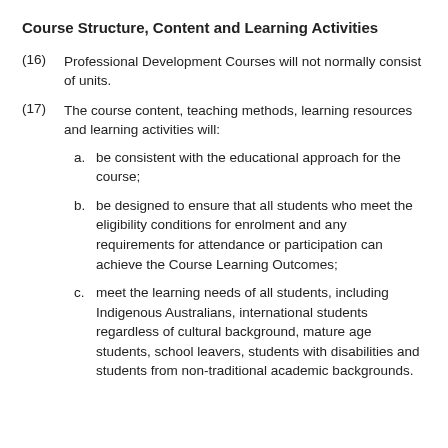Course Structure, Content and Learning Activities
(16)  Professional Development Courses will not normally consist of units.
(17)  The course content, teaching methods, learning resources and learning activities will:
a.  be consistent with the educational approach for the course;
b.  be designed to ensure that all students who meet the eligibility conditions for enrolment and any requirements for attendance or participation can achieve the Course Learning Outcomes;
c.  meet the learning needs of all students, including Indigenous Australians, international students regardless of cultural background, mature age students, school leavers, students with disabilities and students from non-traditional academic backgrounds.